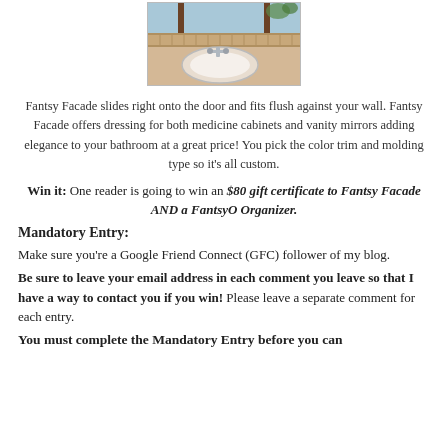[Figure (photo): Photo of a bathroom vanity/sink area with decorative tile border and faucet]
Fantsy Facade slides right onto the door and fits flush against your wall. Fantsy Facade offers dressing for both medicine cabinets and vanity mirrors adding elegance to your bathroom at a great price! You pick the color trim and molding type so it’s all custom.
Win it: One reader is going to win an $80 gift certificate to Fantsy Facade AND a FantsyO Organizer.
Mandatory Entry:
Make sure you’re a Google Friend Connect (GFC) follower of my blog.
Be sure to leave your email address in each comment you leave so that I have a way to contact you if you win! Please leave a separate comment for each entry.
You must complete the Mandatory Entry before you can